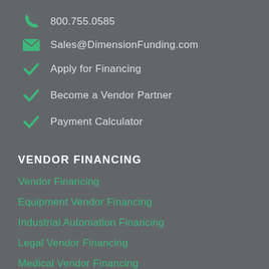800.755.0585
Sales@DimensionFunding.com
Apply for Financing
Become a Vendor Partner
Payment Calculator
VENDOR FINANCING
Vendor Financing
Equipment Vendor Financing
Industrial Automation Financing
Legal Vendor Financing
Medical Vendor Financing
Software Vendor Financing
Vendor Partner Application